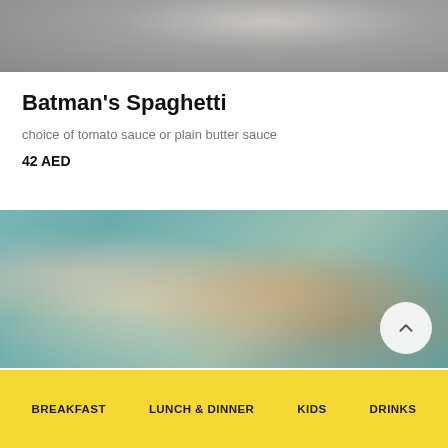[Figure (photo): Top portion of a food dish photo, blurred/cropped at top of page]
Batman's Spaghetti
choice of tomato sauce or plain butter sauce
42 AED
[Figure (photo): Blurred food photo showing a dish, likely pasta or main course, with teal/green background, with a circular scroll-up button in the bottom right corner]
BREAKFAST   LUNCH & DINNER   KIDS   DRINKS